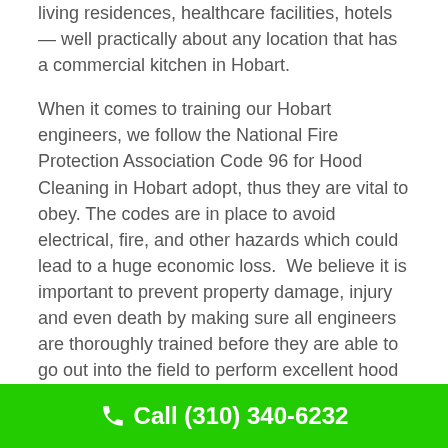living residences, healthcare facilities, hotels — well practically about any location that has a commercial kitchen in Hobart.
When it comes to training our Hobart  engineers, we follow the National Fire Protection Association Code 96 for Hood Cleaning in Hobart adopt, thus they are vital to obey. The codes are in place to avoid electrical, fire, and other hazards which could lead to a huge economic loss.  We believe it is important to prevent property damage, injury and even death by making sure all engineers are thoroughly trained before they are able to go out into the field to perform excellent hood cleaning.
The codes also specify how frequently a Hobart
Call (310) 340-6232